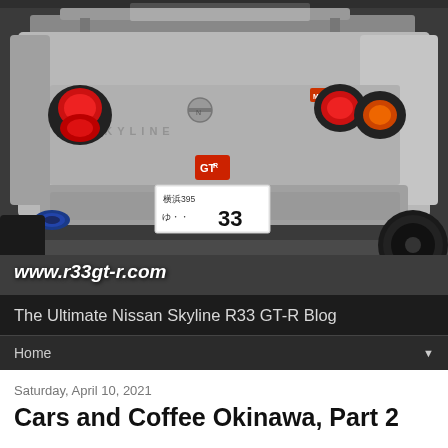[Figure (photo): Rear view of a silver Nissan Skyline R33 GT-R with Japanese license plate showing 横浜395 ゆ 33, red circular taillights, GT-R badge, Mines badge, large rear spoiler, black wheels, blue exhaust tip. Website URL www.r33gt-r.com overlaid in white italic bold text at bottom left.]
The Ultimate Nissan Skyline R33 GT-R Blog
Home
Saturday, April 10, 2021
Cars and Coffee Okinawa, Part 2